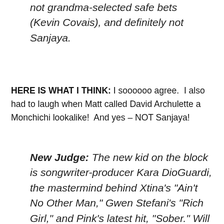not grandma-selected safe bets (Kevin Covais), and definitely not Sanjaya.
HERE IS WHAT I THINK: I soooooo agree.  I also had to laugh when Matt called David Archulette a Monchichi lookalike!  And yes – NOT Sanjaya!
New Judge: The new kid on the block is songwriter-producer Kara DioGuardi, the mastermind behind Xtina's "Ain't No Other Man," Gwen Stefani's "Rich Girl," and Pink's latest hit, "Sober." Will she rely on